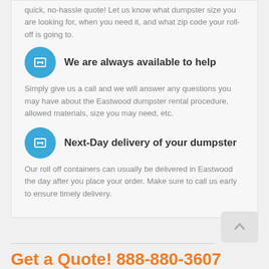quick, no-hassle quote! Let us know what dumpster size you are looking for, when you need it, and what zip code your roll-off is going to.
We are always available to help
Simply give us a call and we will answer any questions you may have about the Eastwood dumpster rental procedure, allowed materials, size you may need, etc.
Next-Day delivery of your dumpster
Our roll off containers can usually be delivered in Eastwood the day after you place your order. Make sure to call us early to ensure timely delivery.
Get a Quote! 888-880-3607